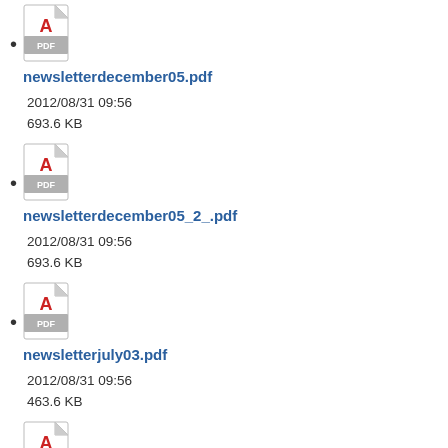newsletterdecember05.pdf
2012/08/31 09:56
693.6 KB
newsletterdecember05_2_.pdf
2012/08/31 09:56
693.6 KB
newsletterjuly03.pdf
2012/08/31 09:56
463.6 KB
newsletterjune04.pdf
2012/08/31 09:56
646.4 KB